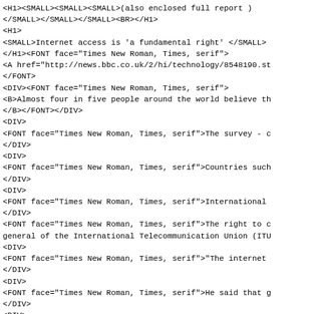<H1><SMALL><SMALL><SMALL>(also enclosed full report )
</SMALL></SMALL></SMALL><BR></H1>
<H1>
<SMALL>Internet access is 'a fundamental right' </SMALL>
</H1><FONT face="Times New Roman, Times, serif">
<A href="http://news.bbc.co.uk/2/hi/technology/8548190.st
</FONT>
<DIV><FONT face="Times New Roman, Times, serif">
<B>Almost four in five people around the world believe th
</B></FONT></DIV>
<DIV>
<FONT face="Times New Roman, Times, serif">The survey - c
</DIV>
<DIV>
<FONT face="Times New Roman, Times, serif">Countries such
</DIV>
<DIV>
<FONT face="Times New Roman, Times, serif">International
</DIV>
<FONT face="Times New Roman, Times, serif">The right to c
general of the International Telecommunication Union (ITU
<DIV>
<FONT face="Times New Roman, Times, serif">"The internet
</DIV>
<DIV>
<FONT face="Times New Roman, Times, serif">He said that g
</DIV>
<DIV>
<FONT face="Times New Roman, Times, serif">"We have enter
<BR></FONT></DIV>
<DIV>